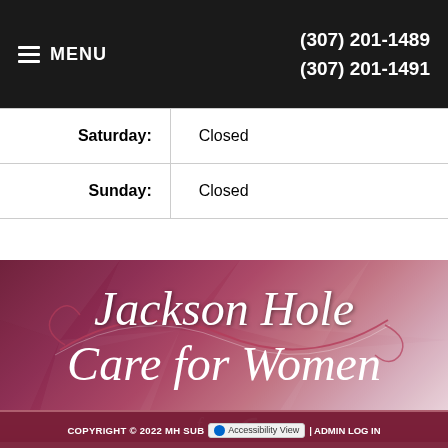MENU | (307) 201-1489 | (307) 201-1491
| Saturday: | Closed |
| Sunday: | Closed |
[Figure (logo): Jackson Hole Care for Women script logo on dark pink/maroon decorative background with swirl design]
[Figure (infographic): Social media icons: Facebook (f) and RSS feed icons in white on dark background]
COPYRIGHT © 2022 MH SUB | Accessibility View | ADMIN LOG IN